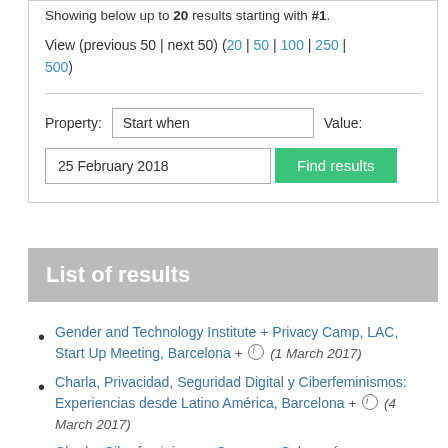Showing below up to 20 results starting with #1.
View (previous 50 | next 50) (20 | 50 | 100 | 250 | 500)
Property: Start when   Value:
25 February 2018   Find results
List of results
Gender and Technology Institute + Privacy Camp, LAC, Start Up Meeting, Barcelona + ⓘ (1 March 2017)
Charla, Privacidad, Seguridad Digital y Ciberfeminismos: Experiencias desde Latino América, Barcelona + ⓘ (4 March 2017)
Charla, Ciberfeminismos, Congreso Soberanía